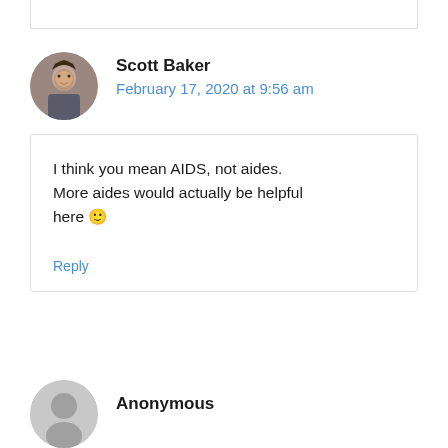Scott Baker
February 17, 2020 at 9:56 am
I think you mean AIDS, not aides. More aides would actually be helpful here 🙂
Reply
Anonymous